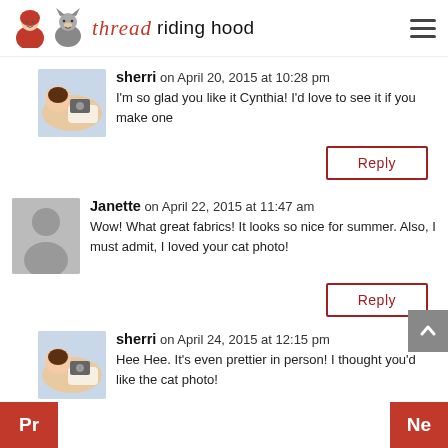thread riding hood
sherri on April 20, 2015 at 10:28 pm
I'm so glad you like it Cynthia! I'd love to see it if you make one
Reply
Janette on April 22, 2015 at 11:47 am
Wow! What great fabrics! It looks so nice for summer. Also, I must admit, I loved your cat photo!
Reply
sherri on April 24, 2015 at 12:15 pm
Hee Hee. It's even prettier in person! I thought you'd like the cat photo!